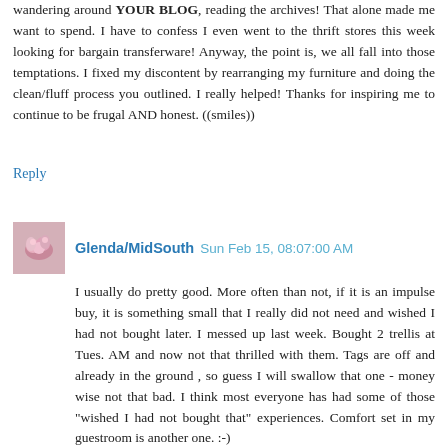wandering around YOUR BLOG, reading the archives! That alone made me want to spend. I have to confess I even went to the thrift stores this week looking for bargain transferware! Anyway, the point is, we all fall into those temptations. I fixed my discontent by rearranging my furniture and doing the clean/fluff process you outlined. I really helped! Thanks for inspiring me to continue to be frugal AND honest. ((smiles))
Reply
Glenda/MidSouth  Sun Feb 15, 08:07:00 AM
[Figure (photo): Small square avatar photo showing pink roses]
I usually do pretty good. More often than not, if it is an impulse buy, it is something small that I really did not need and wished I had not bought later. I messed up last week. Bought 2 trellis at Tues. AM and now not that thrilled with them. Tags are off and already in the ground , so guess I will swallow that one - money wise not that bad. I think most everyone has had some of those "wished I had not bought that" experiences. Comfort set in my guestroom is another one. :-)